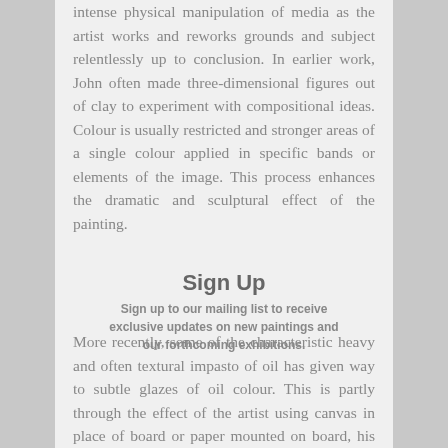intense physical manipulation of media as the artist works and reworks grounds and subject relentlessly up to conclusion. In earlier work, John often made three-dimensional figures out of clay to experiment with compositional ideas. Colour is usually restricted and stronger areas of a single colour applied in specific bands or elements of the image. This process enhances the dramatic and sculptural effect of the painting.
Sign Up
Sign up to our mailing list to receive exclusive updates on new paintings and our forthcoming exhibitions.
More recently, some of the characteristic heavy and often textural impasto of oil has given way to subtle glazes of oil colour. This is partly through the effect of the artist using canvas in place of board or paper mounted on board, his more usual support. Well known for his studies of the female nude, John's paintings in oil and mixed media often places the